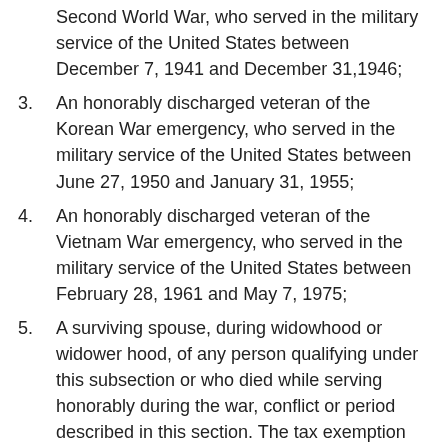Second World War, who served in the military service of the United States between December 7, 1941 and December 31,1946;
3. An honorably discharged veteran of the Korean War emergency, who served in the military service of the United States between June 27, 1950 and January 31, 1955;
4. An honorably discharged veteran of the Vietnam War emergency, who served in the military service of the United States between February 28, 1961 and May 7, 1975;
5. A surviving spouse, during widowhood or widower hood, of any person qualifying under this subsection or who died while serving honorably during the war, conflict or period described in this section. The tax exemption shall be applied to property the title to which is held by the surviving spouse